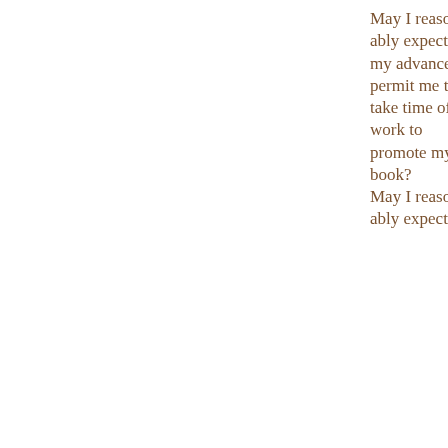May I reasonably expect my advance to permit me to take time off work to promote my book? May I reasonably expect